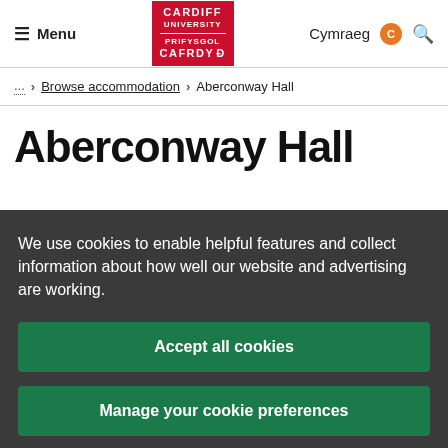Menu | Cardiff University | Cymraeg | Search
... > Browse accommodation > Aberconway Hall
Aberconway Hall
We use cookies to enable helpful features and collect information about how well our website and advertising are working.
Accept all cookies
Manage your cookie preferences